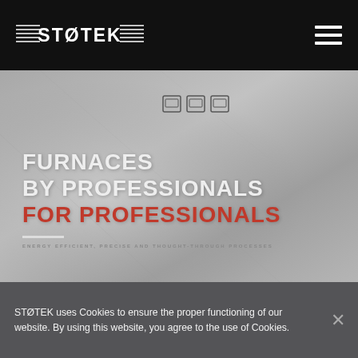STØTEK
[Figure (screenshot): Website screenshot of STØTEK furnaces homepage showing hero section with furnace type icons and headline text FURNACES BY PROFESSIONALS FOR PROFESSIONALS over a grey textured background]
FURNACES
BY PROFESSIONALS
FOR PROFESSIONALS
ENERGY EFFICIENT, PRECISE AND THOUGHT-THROUGH PROCESSES
STØTEK uses Cookies to ensure the proper functioning of our website. By using this website, you agree to the use of Cookies.